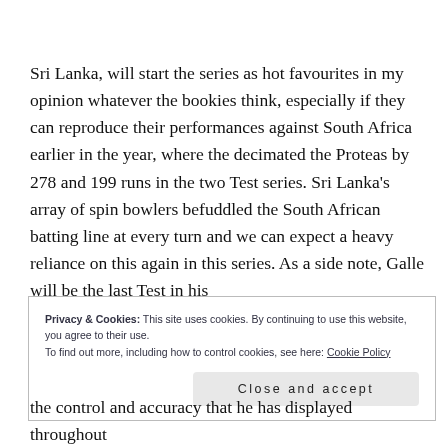Sri Lanka, will start the series as hot favourites in my opinion whatever the bookies think, especially if they can reproduce their performances against South Africa earlier in the year, where the decimated the Proteas by 278 and 199 runs in the two Test series. Sri Lanka's array of spin bowlers befuddled the South African batting line at every turn and we can expect a heavy reliance on this again in this series. As a side note, Galle will be the last Test in his
Privacy & Cookies: This site uses cookies. By continuing to use this website, you agree to their use.
To find out more, including how to control cookies, see here: Cookie Policy
Close and accept
the control and accuracy that he has displayed throughout